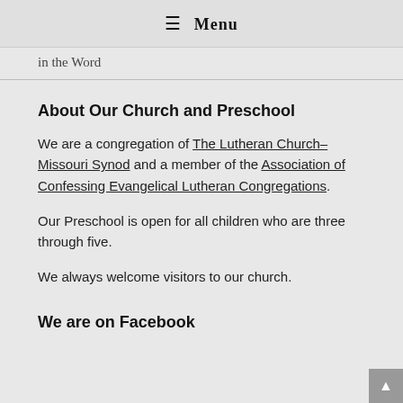≡ Menu
in the Word
About Our Church and Preschool
We are a congregation of The Lutheran Church–Missouri Synod and a member of the Association of Confessing Evangelical Lutheran Congregations.
Our Preschool is open for all children who are three through five.
We always welcome visitors to our church.
We are on Facebook